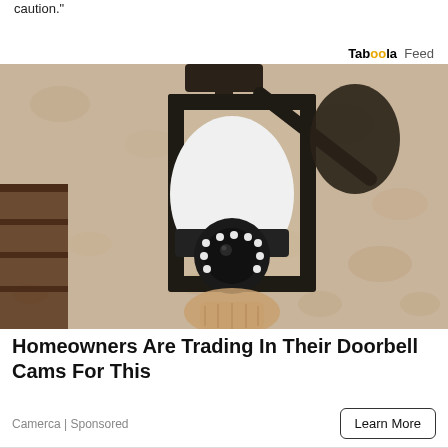caution."
Taboola Feed
[Figure (photo): A hand installing a white security camera shaped like a light bulb into a dark metal outdoor wall lantern fixture mounted on a textured stucco wall]
Homeowners Are Trading In Their Doorbell Cams For This
Camerca | Sponsored
Learn More